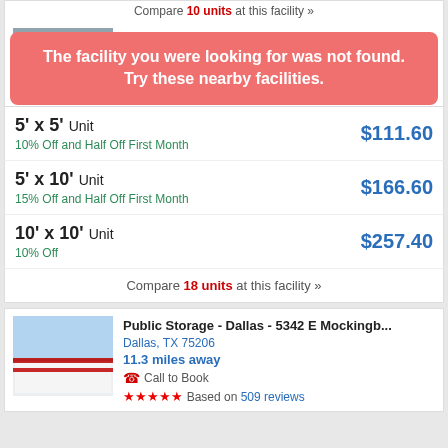Compare 10 units at this facility »
The facility you were looking for was not found. Try these nearby facilities.
12.9 miles away
Call to Book
5' x 5' Unit
10% Off and Half Off First Month
$111.60
5' x 10' Unit
15% Off and Half Off First Month
$166.60
10' x 10' Unit
10% Off
$257.40
Compare 18 units at this facility »
Public Storage - Dallas - 5342 E Mockingb...
Dallas, TX 75206
11.3 miles away
Call to Book
Based on 509 reviews